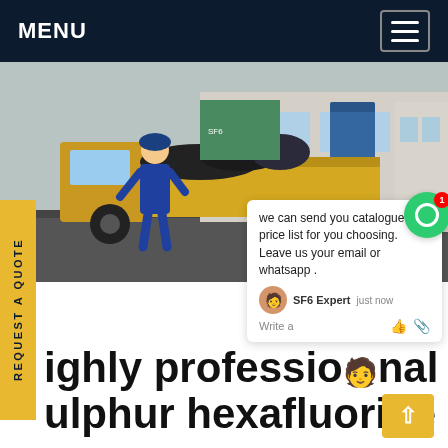MENU
[Figure (photo): Photo of a worker loading equipment onto a yellow flatbed truck on a street, with blue barrels and bags visible in the background. A chat popup overlay is visible on the right side of the image showing a message from SF6 Expert saying 'we can send you catalogue and price list for you choosing. Leave us your email or whatsapp.']
highly professional sulphur hexafluoride gas vietnam
About products and suppliers: Shop for gas sulfur at Alibaba when you need wholesale supplies for your manufacturing facility. A wide range of elements be found in several different forms. Get gas sulfur